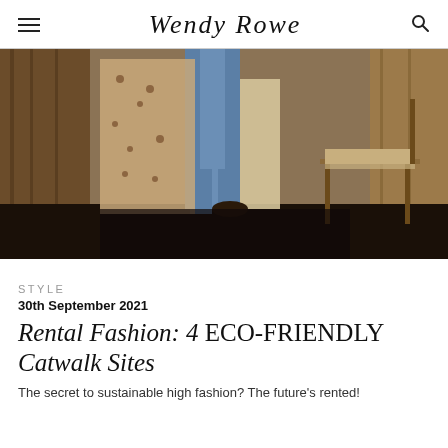Wendy Rowe
[Figure (photo): A person wearing jeans and a floral/leopard print long coat, standing near a wooden chair and wardrobe in a vintage interior setting.]
STYLE
30th September 2021
Rental Fashion: 4 ECO-FRIENDLY Catwalk Sites
The secret to sustainable high fashion? The future's rented!